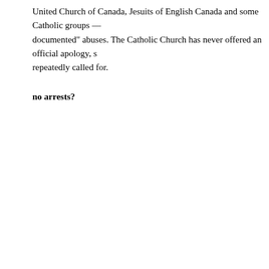United Church of Canada, Jesuits of English Canada and some Catholic groups — documented" abuses. The Catholic Church has never offered an official apology, se repeatedly called for.
no arrests?